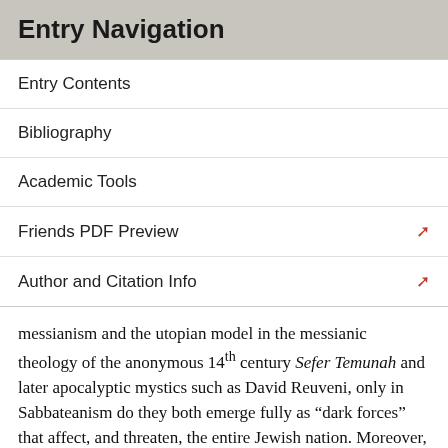Entry Navigation
Entry Contents
Bibliography
Academic Tools
Friends PDF Preview
Author and Citation Info
messianism and the utopian model in the messianic theology of the anonymous 14th century Sefer Temunah and later apocalyptic mystics such as David Reuveni, only in Sabbateanism do they both emerge fully as “dark forces” that affect, and threaten, the entire Jewish nation. Moreover, once these forces are unleashed — especially in a traditional world whose authority had already been weakened — they can never again be totally suppressed, even though the formal Sabbatean movement loses much of its direct influence by the 18th century either through attrition or religious conservatism. That is, for Scholem,